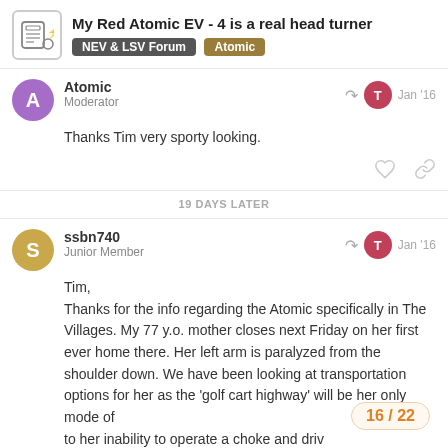My Red Atomic EV - 4 is a real head turner | NEV & LSV Forum | Atomic
Atomic
Moderator
Jan '16
Thanks Tim very sporty looking.
19 DAYS LATER
ssbn740
Junior Member
Jan '16
Tim,
Thanks for the info regarding the Atomic specifically in The Villages. My 77 y.o. mother closes next Friday on her first ever home there. Her left arm is paralyzed from the shoulder down. We have been looking at transportation options for her as the 'golf cart highway' will be her only mode of to her inability to operate a choke and driv
16 / 22